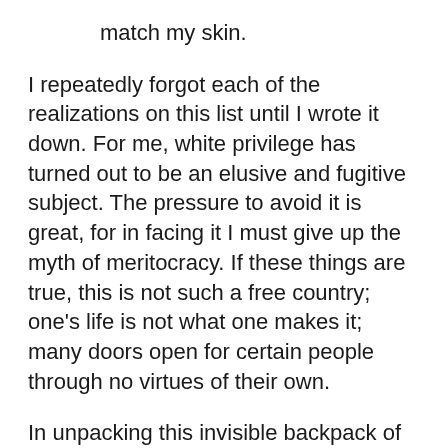match my skin.
I repeatedly forgot each of the realizations on this list until I wrote it down. For me, white privilege has turned out to be an elusive and fugitive subject. The pressure to avoid it is great, for in facing it I must give up the myth of meritocracy. If these things are true, this is not such a free country; one's life is not what one makes it; many doors open for certain people through no virtues of their own.
In unpacking this invisible backpack of white privilege, I have listed conditions of daily experience which I once took for granted. Nor did I think of any of these perquisites as bad for the